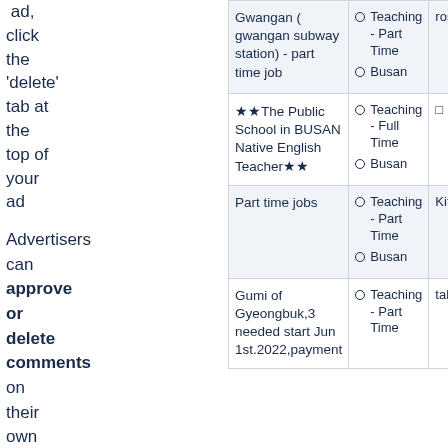ad, click the 'delete' tab at the top of your ad
| Job Title | Tags | User |
| --- | --- | --- |
| Gwangan ( gwangan subway station) - part time job | Teaching - Part Time
Busan | rosa |
| ★★The Public School in BUSAN Native English Teacher★★ | Teaching - Full Time
Busan |  |
| Part time jobs | Teaching - Part Time
Busan | Kitte |
| Gumi of Gyeongbuk,3 needed start Jun 1st.2022,payment | Teaching - Part Time | talkn |
Advertisers can approve or delete comments on their own